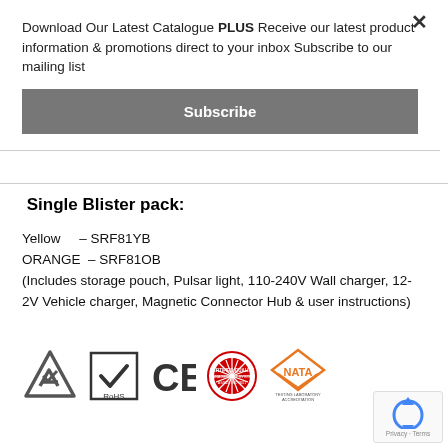Download Our Latest Catalogue PLUS Receive our latest product information & promotions direct to your inbox Subscribe to our mailing list
Subscribe
Single Blister pack:
Yellow     – SRF81YB
ORANGE  – SRF81OB
(Includes storage pouch, Pulsar light, 110-240V Wall charger, 12-2V Vehicle charger, Magnetic Connector Hub & user instructions)
[Figure (logo): Certification logos: recycling/compliance triangle, RoHS checkmark, CE mark, ISO certified quality management system, NATA testing accreditation]
[Figure (logo): Google reCAPTCHA badge with Privacy and Terms links]